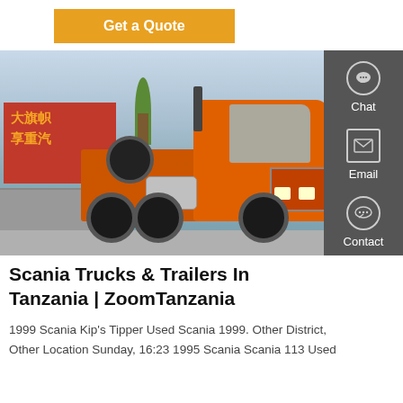Get a Quote
[Figure (photo): Orange Sinotruk HOWO tractor truck parked in a lot with mountains and a red Chinese banner in the background. Sidebar with Chat, Email, Contact, and Top buttons on the right.]
Scania Trucks & Trailers In Tanzania | ZoomTanzania
1999 Scania Kip's Tipper Used Scania 1999. Other District, Other Location Sunday, 16:23 1995 Scania Scania 113 Used